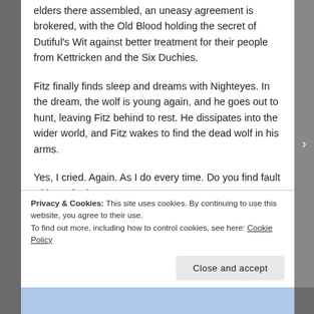elders there assembled, an uneasy agreement is brokered, with the Old Blood holding the secret of Dutiful's Wit against better treatment for their people from Kettricken and the Six Duchies.
Fitz finally finds sleep and dreams with Nighteyes. In the dream, the wolf is young again, and he goes out to hunt, leaving Fitz behind to rest. He dissipates into the wider world, and Fitz wakes to find the dead wolf in his arms.
Yes, I cried. Again. As I do every time. Do you find fault with me for it?
Privacy & Cookies: This site uses cookies. By continuing to use this website, you agree to their use.
To find out more, including how to control cookies, see here: Cookie Policy
Close and accept